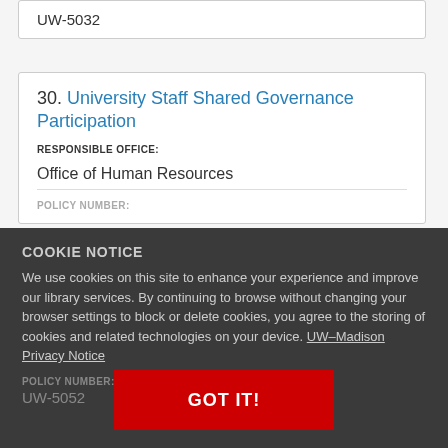UW-5032
30. University Staff Shared Governance Participation
RESPONSIBLE OFFICE:
Office of Human Resources
POLICY NUMBER:
COOKIE NOTICE
We use cookies on this site to enhance your experience and improve our library services. By continuing to browse without changing your browser settings to block or delete cookies, you agree to the storing of cookies and related technologies on your device. UW–Madison Privacy Notice
POLICY NUMBER:
UW-5052
GOT IT!